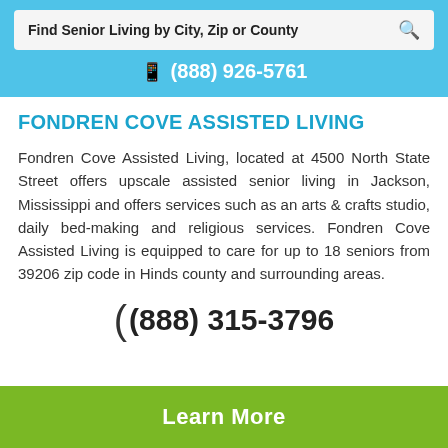Find Senior Living by City, Zip or County
(888) 926-5761
FONDREN COVE ASSISTED LIVING
Fondren Cove Assisted Living, located at 4500 North State Street offers upscale assisted senior living in Jackson, Mississippi and offers services such as an arts & crafts studio, daily bed-making and religious services. Fondren Cove Assisted Living is equipped to care for up to 18 seniors from 39206 zip code in Hinds county and surrounding areas.
(888) 315-3796
Learn More